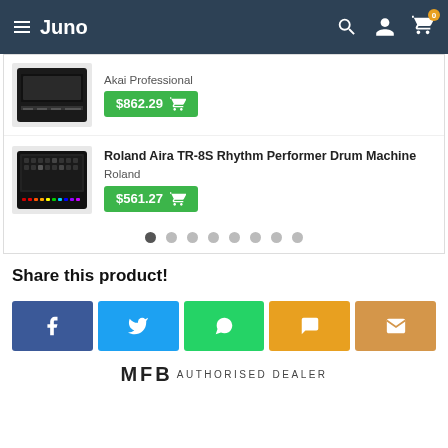Juno
Akai Professional
$862.29
Roland Aira TR-8S Rhythm Performer Drum Machine
Roland
$561.27
Share this product!
[Figure (infographic): Social share buttons: Facebook (f), Twitter (bird), WhatsApp (phone), Chat (speech bubble), Email (envelope)]
MFB AUTHORISED DEALER